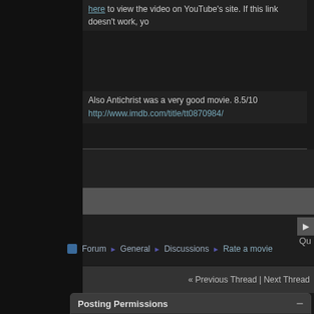here to view the video on YouTube's site. If this link doesn't work, yo
Also Antichrist was a very good movie. 8.5/10
http://www.imdb.com/title/tt0870984/
« Previous Thread | Next Thread
Forum ➔ General ➔ Discussions ➔ Rate a movie
Posting Permissions
You may not post new threads
You may not post
BB code is On
Smilies are On
[IMG] code is On